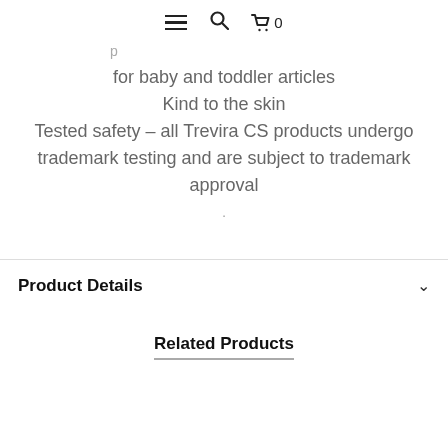≡  🔍  🛒 0
for baby and toddler articles
Kind to the skin
Tested safety – all Trevira CS products undergo trademark testing and are subject to trademark approval
Product Details
Related Products